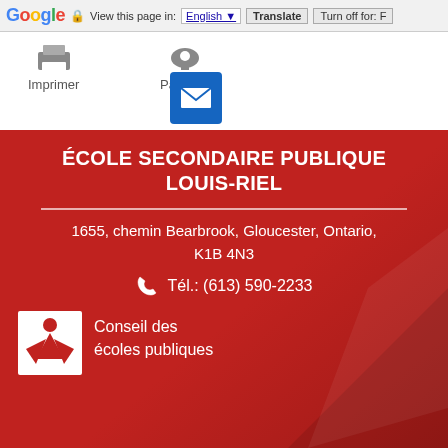[Figure (screenshot): Google Translate browser bar with 'View this page in: English | Translate | Turn off for: F...' controls]
[Figure (screenshot): White toolbar area showing 'Imprimer' (print) button with printer icon, 'Partager' (share) button with phone icon, and a blue email icon below]
ÉCOLE SECONDAIRE PUBLIQUE LOUIS-RIEL
1655, chemin Bearbrook, Gloucester, Ontario, K1B 4N3
Tél.: (613) 590-2233
Conseil des écoles publiques